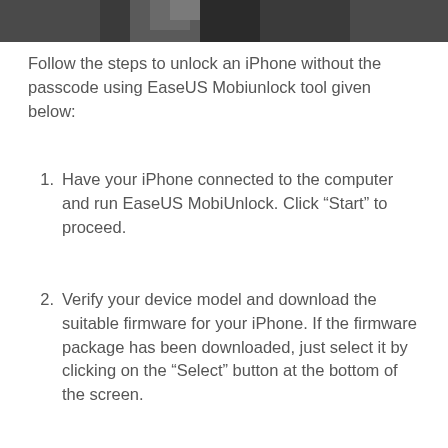[Figure (photo): Partial photo strip at top of page showing a dark background with partial view of a person]
Follow the steps to unlock an iPhone without the passcode using EaseUS Mobiunlock tool given below:
Have your iPhone connected to the computer and run EaseUS MobiUnlock. Click “Start” to proceed.
Verify your device model and download the suitable firmware for your iPhone. If the firmware package has been downloaded, just select it by clicking on the “Select” button at the bottom of the screen.
After firmware download, click “Verify Firmware.”
After that, click “Unlock.” Enter the needed information in the box and click “Unlock” again to regain access to your locked iPhone without